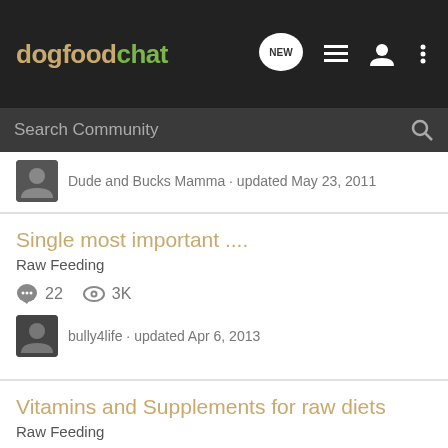dogfoodchat — navigation bar with NEW, list, user, and menu icons
Search Community
Dude and Bucks Mamma · updated May 23, 2011
Single most important ....
Raw Feeding
22  3K
bully4life · updated Apr 6, 2013
Vitamins and Supplements for raw diets
Raw Feeding
20  8K
Guest · updated Aug 29, 2010